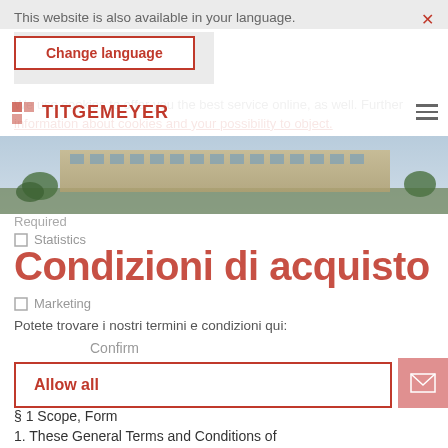This website is also available in your language. ×
Change language
We use cookies to offer you the best service online, as well. Further information about cookies and your possibility to object.
[Figure (screenshot): TITGEMEYER logo and navigation bar with hamburger menu icon]
[Figure (photo): Building exterior photo showing a modern commercial or industrial building with trees in foreground]
Required
Statistics
Condizioni di acquisto
Marketing
Potete trovare i nostri termini e condizioni qui:
Confirm
Allow all
§ 1 Scope, Form
1. These General Terms and Conditions of